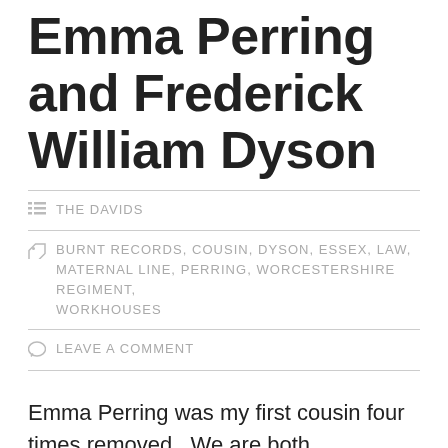Emma Perring and Frederick William Dyson
THE DAVIDS
BURNT RECORDS, COUSIN, DYSON, ESSEX, LAW, MATERNAL LINE, PERRING, WORCESTERSHIRE REGIMENT, WORKHOUSES
LEAVE A COMMENT
Emma Perring was my first cousin four times removed.  We are both descended from James Perring and Emma Law who were my 4th Great